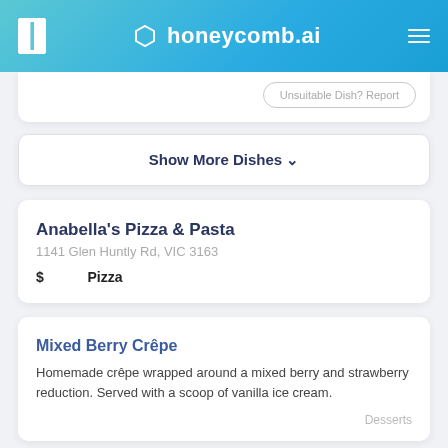honeycomb.ai
Unsuitable Dish? Report
Show More Dishes ▾
Anabella's Pizza & Pasta
1141 Glen Huntly Rd, VIC 3163
$ Pizza
Mixed Berry Crêpe
Homemade crêpe wrapped around a mixed berry and strawberry reduction. Served with a scoop of vanilla ice cream.
Desserts